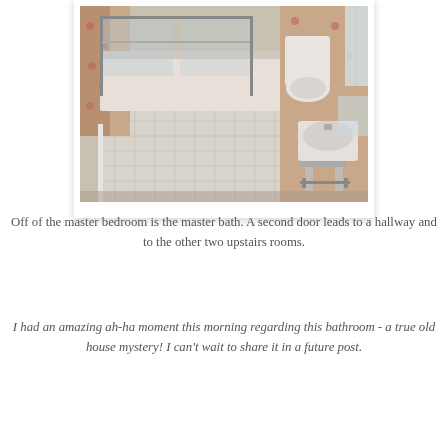[Figure (photo): Interior photo of an old-style bathroom showing a bathtub with glass sliding doors, floral wallpaper, a toilet, a pedestal sink with chrome legs, and white tile flooring with a grid pattern.]
Off of the master bedroom is the master bath. A second door leads to a hallway and to the other two upstairs rooms.
I had an amazing ah-ha moment this morning regarding this bathroom - a true old house mystery! I can't wait to share it in a future post.